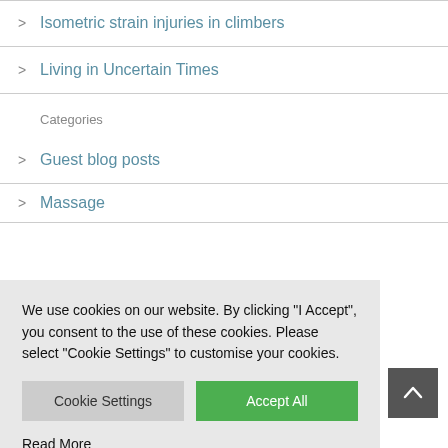> Isometric strain injuries in climbers
> Living in Uncertain Times
Categories
> Guest blog posts
> Massage
We use cookies on our website. By clicking "I Accept", you consent to the use of these cookies. Please select "Cookie Settings" to customise your cookies.
Cookie Settings
Accept All
Read More
Tags